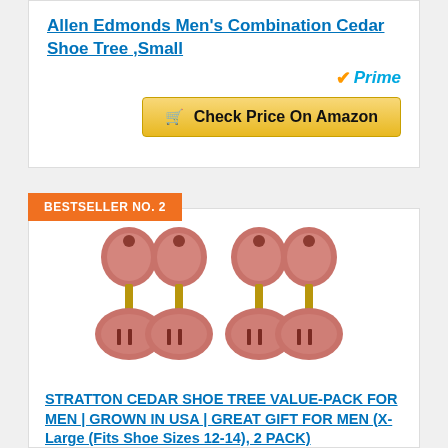Allen Edmonds Men's Combination Cedar Shoe Tree ,Small
[Figure (other): Amazon Prime badge with orange checkmark and blue italic Prime text]
Check Price On Amazon
BESTSELLER NO. 2
[Figure (photo): Four cedar shoe trees (2 pairs) made of reddish-pink wood with brass connecting rods, shown side by side on white background]
STRATTON CEDAR SHOE TREE VALUE-PACK FOR MEN | GROWN IN USA | GREAT GIFT FOR MEN (X-Large (Fits Shoe Sizes 12-14), 2 PACK)